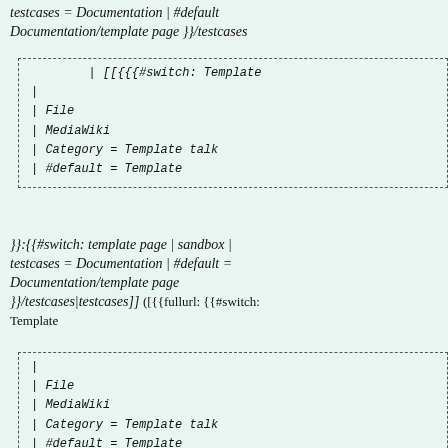testcases = Documentation | #default Documentation/template page }}/testcases
[Figure (screenshot): Code box with wiki template switch syntax: | [[[{#switch: Template | | | File | MediaWiki | Category = Template talk | #default = Template]
}}: {{#switch: template page | sandbox | testcases = Documentation | #default = Documentation/template page }}/testcases|testcases]] ([{{fullurl: {{#switch: Template
[Figure (screenshot): Code box with wiki template switch syntax: | | File | MediaWiki | Category = Template talk | #default = Template]
}}:{{#switch: template page | sandbox | testcases = Documentation | #default = Documentation/template page }}/testcases | action=edit }} edit])
[Figure (screenshot): Code box partial visible at bottom]